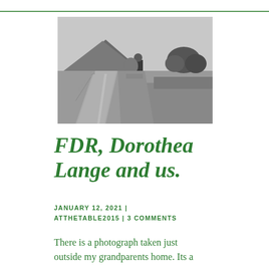[Figure (photo): Black and white photograph of a person with a large pack on their back, standing beside a road with a mountain visible in the background and trees to the right.]
FDR, Dorothea Lange and us.
JANUARY 12, 2021 | ATTHETABLE2015 | 3 COMMENTS
There is a photograph taken just outside my grandparents home. Its a